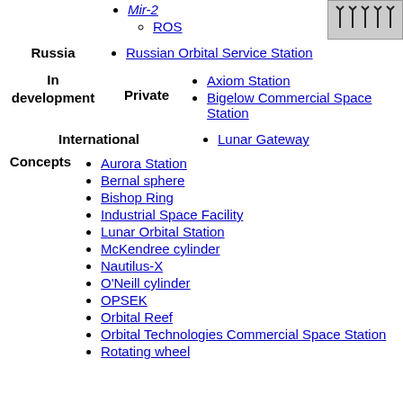Mir-2
ROS
Russian Orbital Service Station
Axiom Station
Bigelow Commercial Space Station
Lunar Gateway
Aurora Station
Bernal sphere
Bishop Ring
Industrial Space Facility
Lunar Orbital Station
McKendree cylinder
Nautilus-X
O'Neill cylinder
OPSEK
Orbital Reef
Orbital Technologies Commercial Space Station
Rotating wheel